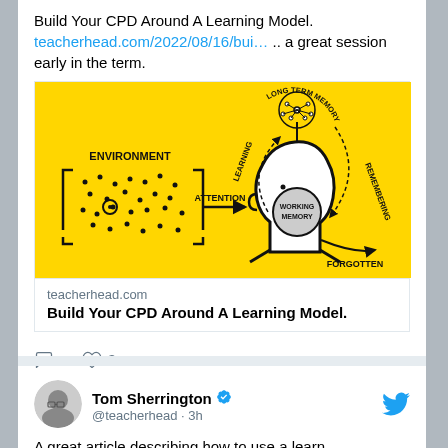Build Your CPD Around A Learning Model. teacherhead.com/2022/08/16/bui... .. a great session early in the term.
[Figure (infographic): Yellow background infographic showing a learning model: Environment (dots representing stimuli) → Attention arrow → head silhouette with Working Memory circle inside → connections to Long Term Memory (brain/tree) above with 'LEARNING' and 'REMEMBERING' dashed arrows, and 'FORGOTTEN' arrow going down-right.]
teacherhead.com
Build Your CPD Around A Learning Model.
3
Tom Sherrington @teacherhead · 3h